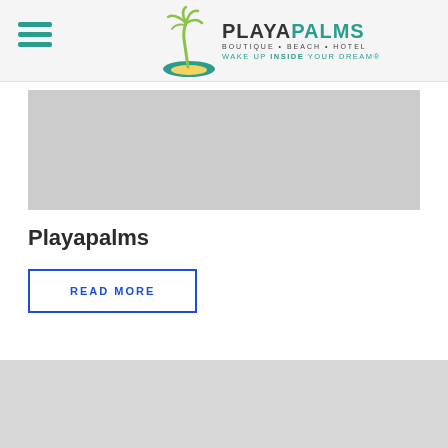PLAYAPALMS Boutique Beach Hotel — Wake Up Inside Your Dream®
[Figure (photo): Gray placeholder image for hotel hero photo]
Playapalms
READ MORE
[Figure (photo): Gray placeholder image at bottom of page with back-to-top button]